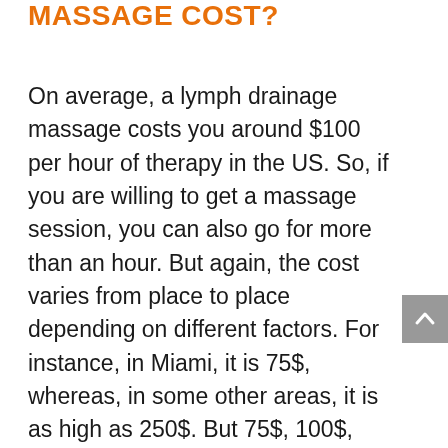MASSAGE COST?
On average, a lymph drainage massage costs you around $100 per hour of therapy in the US. So, if you are willing to get a massage session, you can also go for more than an hour. But again, the cost varies from place to place depending on different factors. For instance, in Miami, it is 75$, whereas, in some other areas, it is as high as 250$. But 75$, 100$, and so on are not costly. Lymphatic massage is affordable according to its benefits and worth. Yes, lymphatic massage is a good investment